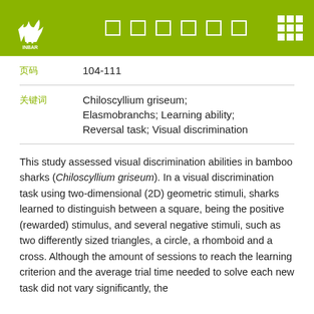INBAR header with logo and navigation
页码: 104-111
关键词: Chiloscyllium griseum; Elasmobranchs; Learning ability; Reversal task; Visual discrimination
This study assessed visual discrimination abilities in bamboo sharks (Chiloscyllium griseum). In a visual discrimination task using two-dimensional (2D) geometric stimuli, sharks learned to distinguish between a square, being the positive (rewarded) stimulus, and several negative stimuli, such as two differently sized triangles, a circle, a rhomboid and a cross. Although the amount of sessions to reach the learning criterion and the average trial time needed to solve each new task did not vary significantly, the